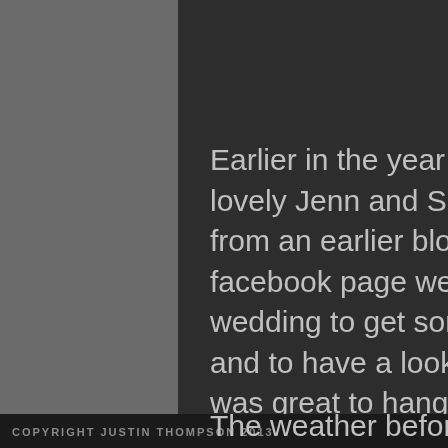Earlier in the year I shot a wedding for the lovely Jenn and Scott – as you can see from an earlier blog post and from my facebook page we met just before the wedding to get some engagement shots and to have a look round the venue – it was great to hang out with the couple before the big day and made sure all the best spots were picked out before the wedding day!
COPYRIGHT JUSTIN THOMPSON 2013
The weather before and after the